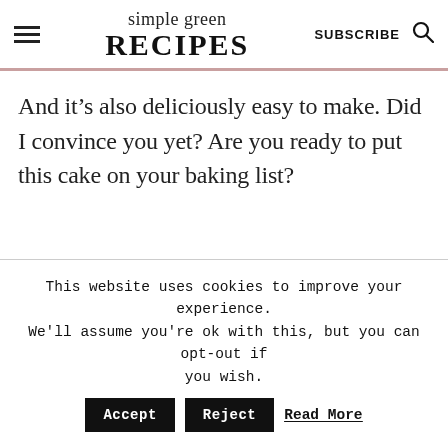simple green RECIPES | SUBSCRIBE
And it’s also deliciously easy to make. Did I convince you yet? Are you ready to put this cake on your baking list?
This website uses cookies to improve your experience. We’ll assume you’re ok with this, but you can opt-out if you wish. Accept Reject Read More